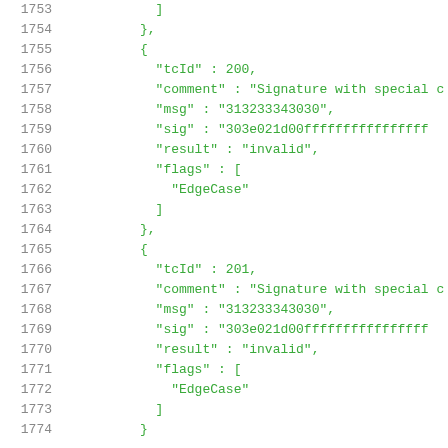Code listing lines 1753-1774, JSON test vector data with tcId 200 and 201, showing signature verification test cases with EdgeCase flags